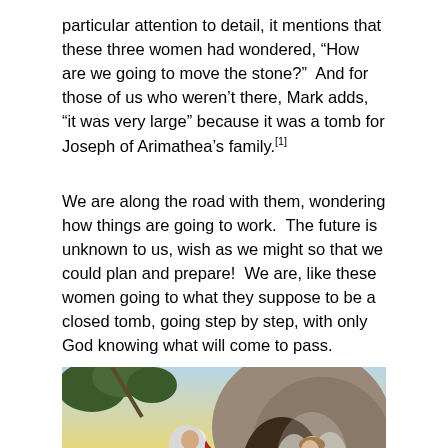particular attention to detail, it mentions that these three women had wondered, “How are we going to move the stone?”  And for those of us who weren’t there, Mark adds, “it was very large” because it was a tomb for Joseph of Arimathea’s family.[1]
We are along the road with them, wondering how things are going to work.  The future is unknown to us, wish as we might so that we could plan and prepare!  We are, like these women going to what they suppose to be a closed tomb, going step by step, with only God knowing what will come to pass.
[Figure (illustration): Religious illustration depicting a woman in red and white robes (presumably Mary) kneeling or bowing before an angel at the entrance of a tomb. Background shows trees, rocks, and a pale sky. The angel has wings and white robes.]